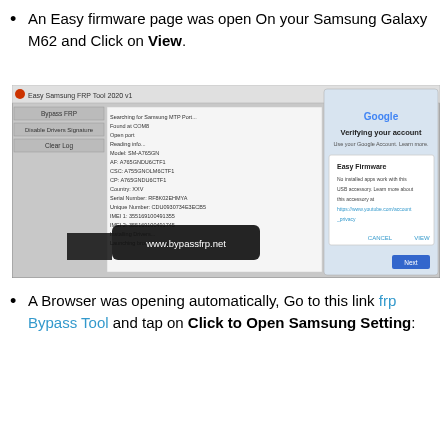An Easy firmware page was open On your Samsung Galaxy M62 and Click on View.
[Figure (screenshot): Screenshot of Easy Samsung FRP Tool 2020 v1 showing device info log on left side, and a phone screen on right showing Google 'Verifying your account' dialog with an Easy Firmware popup. Watermark www.bypassfrp.net visible at bottom.]
A Browser was opening automatically, Go to this link frp Bypass Tool and tap on Click to Open Samsung Setting: